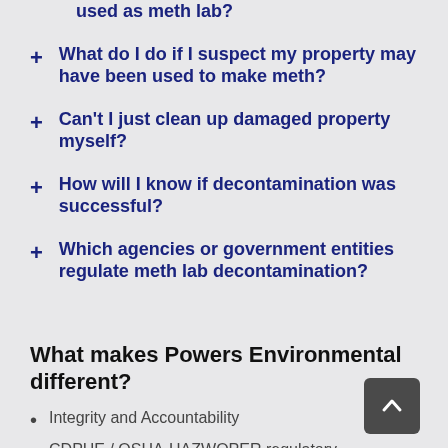+ used as meth lab?
+ What do I do if I suspect my property may have been used to make meth?
+ Can't I just clean up damaged property myself?
+ How will I know if decontamination was successful?
+ Which agencies or government entities regulate meth lab decontamination?
What makes Powers Environmental different?
Integrity and Accountability
CDPHE / OSHA-HAZWOPER regulatory